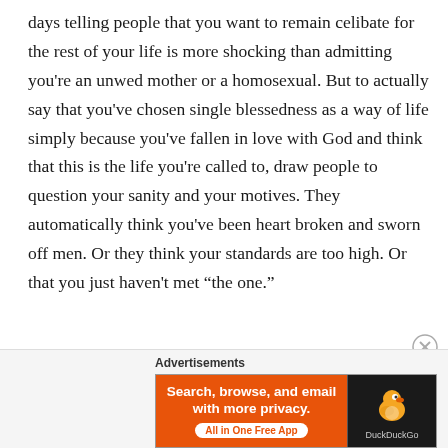days telling people that you want to remain celibate for the rest of your life is more shocking than admitting you're an unwed mother or a homosexual. But to actually say that you've chosen single blessedness as a way of life simply because you've fallen in love with God and think that this is the life you're called to, draw people to question your sanity and your motives. They automatically think you've been heart broken and sworn off men. Or they think your standards are too high. Or that you just haven't met “the one.”
[Figure (other): DuckDuckGo advertisement banner: orange background with text 'Search, browse, and email with more privacy. All in One Free App' on the left, and the DuckDuckGo duck logo on a dark background on the right. Labeled 'Advertisements' above.]